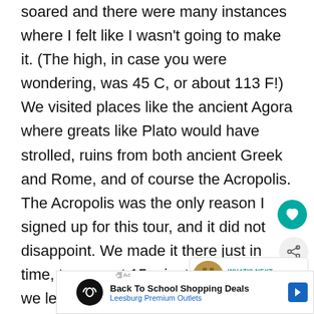soared and there were many instances where I felt like I wasn't going to make it. (The high, in case you were wondering, was 45 C, or about 113 F!) We visited places like the ancient Agora where greats like Plato would have strolled, ruins from both ancient Greek and Rome, and of course the Acropolis. The Acropolis was the only reason I signed up for this tour, and it did not disappoint. We made it there just in time, too — not 15 minutes after we left, they closed the Acropolis because the heat. After the Acropolis and a yummy frozen yogurt to battle the midday heat, we go the changing of the guard. Then it was back to the ho oc
[Figure (screenshot): UI overlay elements: heart/favorite button (teal circle), share button (light gray circle), 'What's Next' card showing Euro Trip Week 2... with thumbnail]
[Figure (screenshot): Advertisement banner: Back To School Shopping Deals - Leesburg Premium Outlets, with infinity logo icon and blue arrow icon]